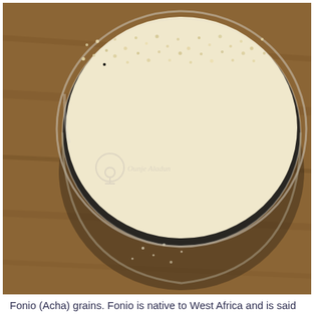[Figure (photo): Overhead close-up photo of Fonio (Acha) grains in a clear plastic container on a wooden surface. The grains are fine and pale cream/yellow colored. A watermark reads 'Ounje Aladun' with a logo in the center-left of the image.]
Fonio (Acha) grains. Fonio is native to West Africa and is said to be the oldest grain ever cultivated. Fonio (Acha) is gluten-free and is considered a superfood as it is packed full of nutrients
Fonio is a great substitute for other grains. Read more in 'Fonio...